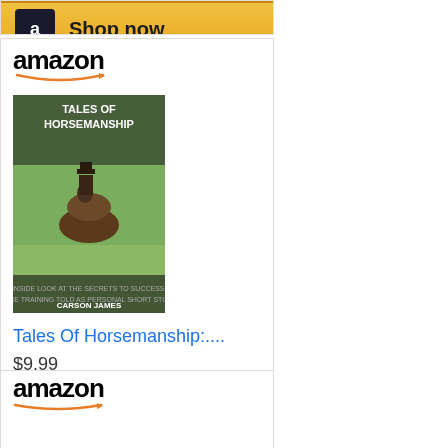[Figure (other): Amazon product card partial - Shop now button at top]
[Figure (other): Amazon product card for 'Tales Of Horsemanship:...' book priced at $9.99 with Shop now button]
[Figure (other): Amazon product card for 'How to Think' book (partial, cut off at bottom)]